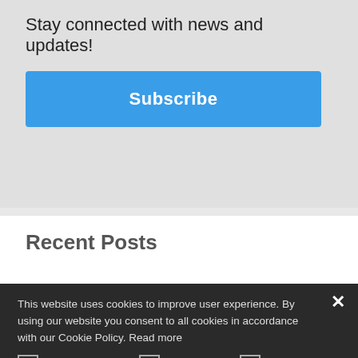Stay connected with news and updates!
Subscribe
Recent Posts
This website uses cookies to improve user experience. By using our website you consent to all cookies in accordance with our Cookie Policy. Read more
PERFORMANCE
TARGETING
FUNCTIONALITY
UNCLASSIFIED
SHOW DETAILS
ACCEPT ALL
DECLINE ALL
POWERED BY COOKIE-SCRIPT